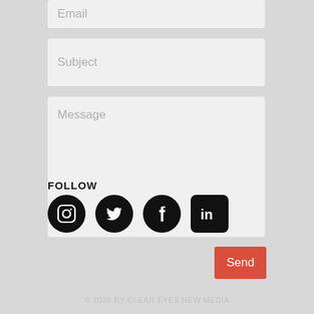Email
Subject
Message
Send
FOLLOW
[Figure (illustration): Four social media icons: Instagram, Twitter, Facebook, LinkedIn — black circular/rounded-square icons on grey background]
© 2020 BY CLEAR EYES NEW MEDIA